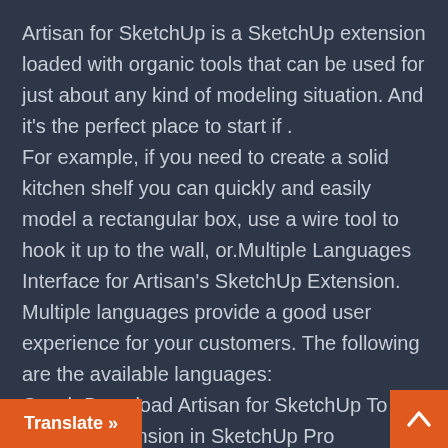Artisan for SketchUp is a SketchUp extension loaded with organic tools that can be used for just about any kind of modeling situation. And it's the perfect place to start if . For example, if you need to create a solid kitchen shelf you can quickly and easily model a rectangular box, use a wire tool to hook it up to the wall, or.Multiple Languages Interface for Artisan's SketchUp Extension. Multiple languages provide a good user experience for your customers. The following are the available languages: Czech.Download Artisan for SketchUp To Use the Extension in SketchUp Pro SketchUp Pro is a powerful tool for artists, designers, and architects who want to create realistic 3D models with their